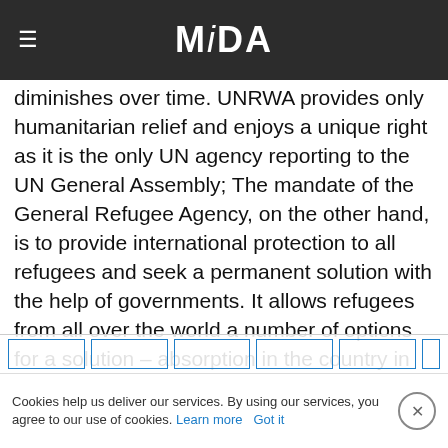MiDA
diminishes over time. UNRWA provides only humanitarian relief and enjoys a unique right as it is the only UN agency reporting to the UN General Assembly; The mandate of the General Refugee Agency, on the other hand, is to provide international protection to all refugees and seek a permanent solution with the help of governments. It allows refugees from all over the world a number of options for a solution – absorption in the country in which they reside; Re-absorption in a third country willing to receive them; Return to their country of origin. The problem is that the first two options are rejected by the Arab states, and the third option is not accepted by Israel, which has absorbed more than a million Jewish refugees from Arab countries and proved th... Israeli...
Cookies help us deliver our services. By using our services, you agree to our use of cookies. Learn more  Got it